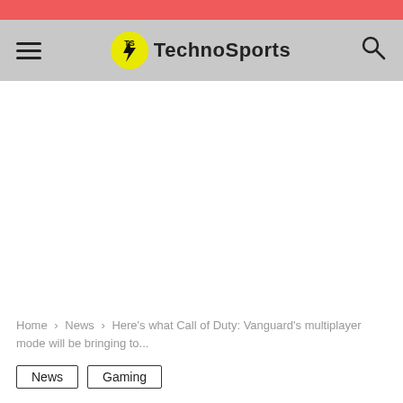TechnoSports
[Figure (logo): TechnoSports logo with yellow circle containing TS letters and lightning bolt]
Home › News › Here's what Call of Duty: Vanguard's multiplayer mode will be bringing to...
News
Gaming
Here's what Call of Duty: